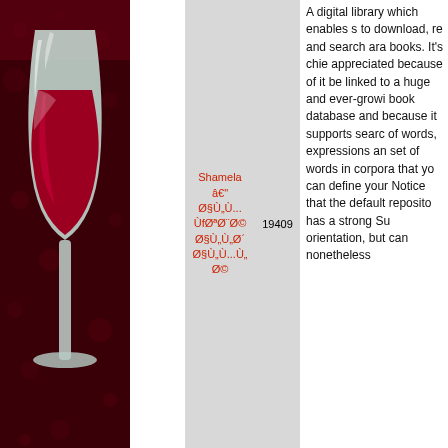[Figure (illustration): Wine glass with red wine against a dark red background with decorative pattern]
Shamela â€" Ø§Ù„Ù... ÙfØªØ¨Ø© Ø§Ù„Ø´Ø§Ù...Ù„Ø©
19409
A digital library which enables s to download, re and search ara books. It's chie appreciated because of it be linked to a huge and ever-growi book database and because it supports searc of words, expressions an set of words in corpora that yo can define your Notice that the default reposito has a strong Su orientation, but can nonetheless